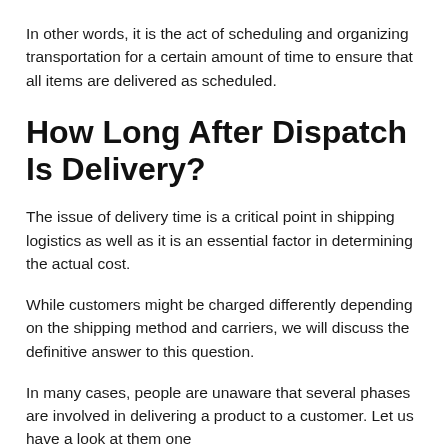In other words, it is the act of scheduling and organizing transportation for a certain amount of time to ensure that all items are delivered as scheduled.
How Long After Dispatch Is Delivery?
The issue of delivery time is a critical point in shipping logistics as well as it is an essential factor in determining the actual cost.
While customers might be charged differently depending on the shipping method and carriers, we will discuss the definitive answer to this question.
In many cases, people are unaware that several phases are involved in delivering a product to a customer. Let us have a look at them one